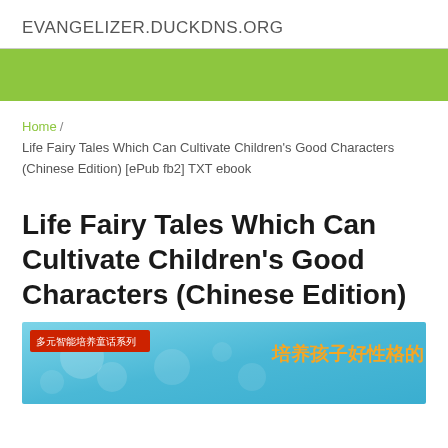EVANGELIZER.DUCKDNS.ORG
Home / Life Fairy Tales Which Can Cultivate Children’s Good Characters (Chinese Edition) [ePub fb2] TXT ebook
Life Fairy Tales Which Can Cultivate Children's Good Characters (Chinese Edition)
[Figure (illustration): Book cover image with Chinese text on a blue/teal background. A red badge reads 多元智能培养童话系列 (Multi-intelligence cultivating fairy tale series). Orange Chinese text on the right reads 培养孩子好性格的 (Cultivate children's good character's).]